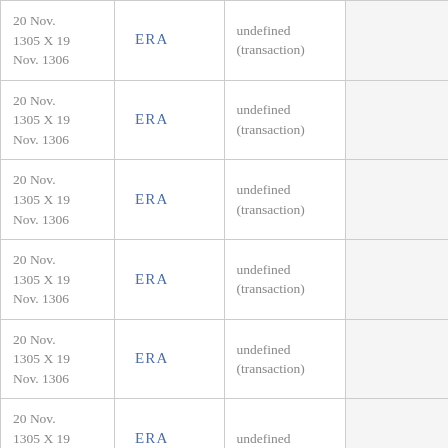| Date | Era | Description |  |
| --- | --- | --- | --- |
| 20 Nov. 1305 X 19 Nov. 1306 | ERA | undefined (transaction) |  |
| 20 Nov. 1305 X 19 Nov. 1306 | ERA | undefined (transaction) |  |
| 20 Nov. 1305 X 19 Nov. 1306 | ERA | undefined (transaction) |  |
| 20 Nov. 1305 X 19 Nov. 1306 | ERA | undefined (transaction) |  |
| 20 Nov. 1305 X 19 Nov. 1306 | ERA | undefined (transaction) |  |
| 20 Nov. 1305 X 19 Nov. 1306 | ERA | undefined |  |